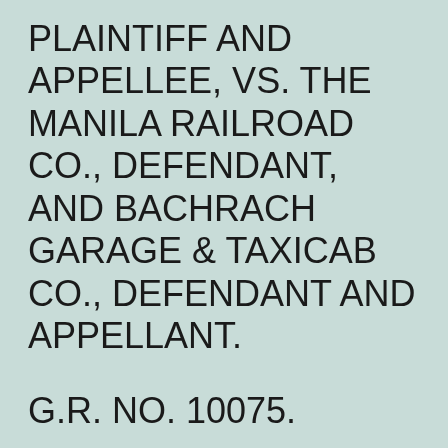PLAINTIFF AND APPELLEE, VS. THE MANILA RAILROAD CO., DEFENDANT, AND BACHRACH GARAGE & TAXICAB CO., DEFENDANT AND APPELLANT.
G.R. NO. 10075.
TAKUTARU UYEHARA, PLAINTIFF AND APPELLEE, VS. THE MANILA RAILROAD